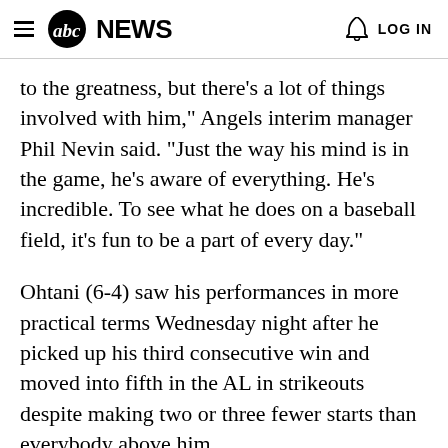abc NEWS  LOG IN
to the greatness, but there’s a lot of things involved with him,” Angels interim manager Phil Nevin said. “Just the way his mind is in the game, he’s aware of everything. He’s incredible. To see what he does on a baseball field, it’s fun to be a part of every day.”
Ohtani (6-4) saw his performances in more practical terms Wednesday night after he picked up his third consecutive win and moved into fifth in the AL in strikeouts despite making two or three fewer starts than everybody above him.
“We…